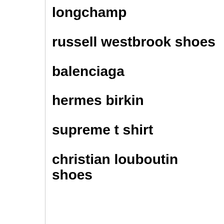longchamp
russell westbrook shoes
balenciaga
hermes birkin
supreme t shirt
christian louboutin shoes